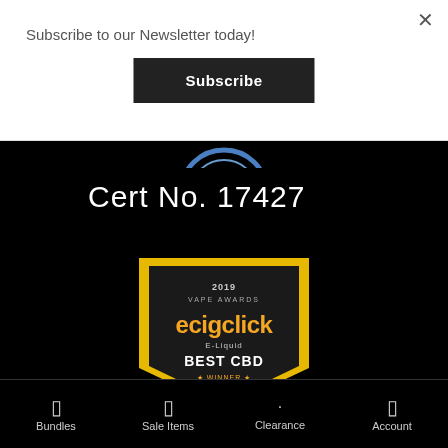Subscribe to our Newsletter today!
Subscribe
[Figure (logo): Blue arc/circle logo partially visible at top of black section]
Cert No. 17427
[Figure (logo): 2019 Vape Awards ecigclick E-Liquid Best CBD Winner - Chefs CBD award badge, gold shield shape with yellow ribbon banner]
Bundles   Sale Items   Clearance   Account